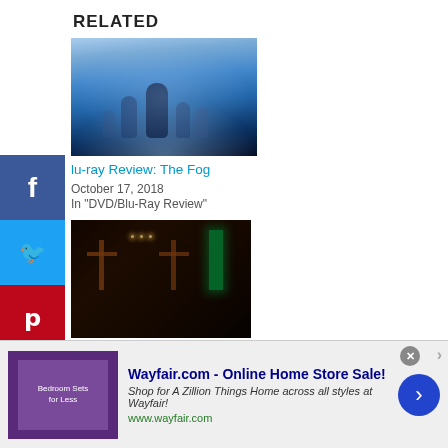RELATED
[Figure (photo): Dark silhouetted figures in blue misty fog - movie still from The Fog]
Blu-ray Review: The Fog
October 17, 2018
In "DVD/Blu-Ray Review"
[Figure (photo): Dark interior with crosses and green neon lights - movie still from Prince of Darkness]
Blu-Ray Review: Prince of Darkness
November 22, 2018
In "DVD/Blu-Ray Review"
[Figure (photo): Group of people in a dark room - movie still]
Blu-Ray Review: The
[Figure (screenshot): Wayfair.com advertisement banner - Online Home Store Sale]
Wayfair.com - Online Home Store Sale!
Shop for A Zillion Things Home across all styles at Wayfair!
www.wayfair.com